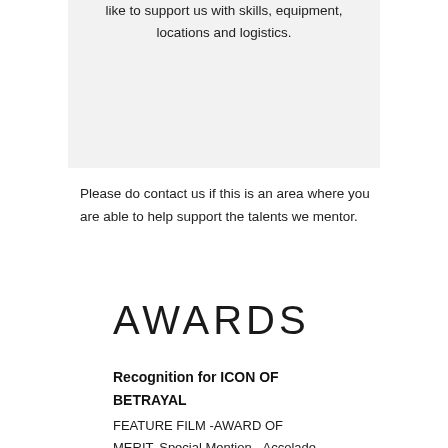like to support us with skills, equipment, locations and logistics.
Please do contact us if this is an area where you are able to help support the talents we mentor.
AWARDS
Recognition for ICON OF BETRAYAL
FEATURE FILM -AWARD OF MERIT, Special Mention - Accolade Global Film Competition